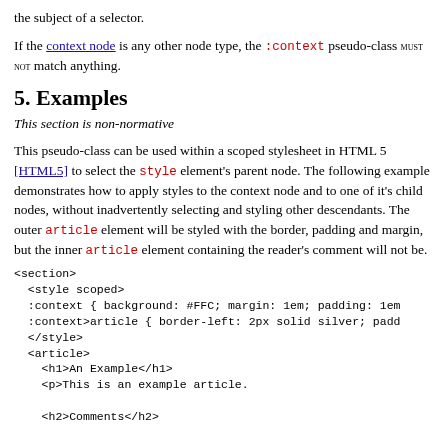the subject of a selector.
If the context node is any other node type, the :context pseudo-class MUST NOT match anything.
5. Examples
This section is non-normative
This pseudo-class can be used within a scoped stylesheet in HTML 5 [HTML5] to select the style element's parent node. The following example demonstrates how to apply styles to the context node and to one of it's child nodes, without inadvertently selecting and styling other descendants. The outer article element will be styled with the border, padding and margin, but the inner article element containing the reader's comment will not be.
<section>
  <style scoped>
  :context { background: #FFC; margin: 1em; padding: 1em
  :context>article { border-left: 2px solid silver; padd
  </style>
  <article>
    <h1>An Example</h1>
    <p>This is an example article.

    <h2>Comments</h2>